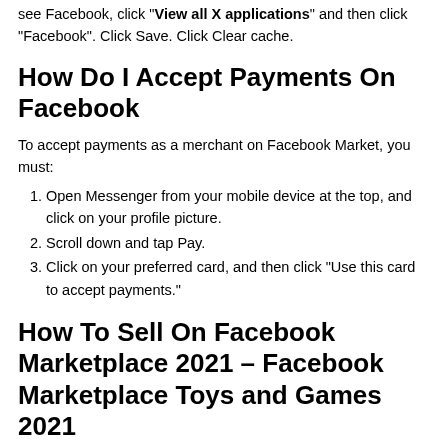see Facebook, click "View all X applications" and then click "Facebook". Click Save. Click Clear cache.
How Do I Accept Payments On Facebook
To accept payments as a merchant on Facebook Market, you must:
Open Messenger from your mobile device at the top, and click on your profile picture.
Scroll down and tap Pay.
Click on your preferred card, and then click “Use this card to accept payments.”
How To Sell On Facebook Marketplace 2021 – Facebook Marketplace Toys and Games 2021